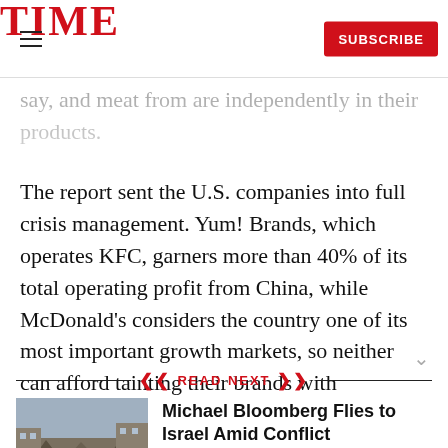TIME | SUBSCRIBE
…say, and meat from are independently in their products.
The report sent the U.S. companies into full crisis management. Yum! Brands, which operates KFC, garners more than 40% of its total operating profit from China, while McDonald's considers the country one of its most important growth markets, so neither can afford tainting their brands with
READ NEXT
[Figure (photo): Photo of rubble/conflict zone with workers in orange vests]
Michael Bloomberg Flies to Israel Amid Conflict